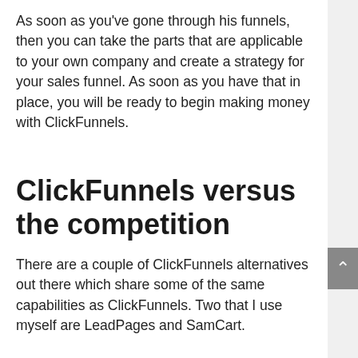As soon as you've gone through his funnels, then you can take the parts that are applicable to your own company and create a strategy for your sales funnel. As soon as you have that in place, you will be ready to begin making money with ClickFunnels.
ClickFunnels versus the competition
There are a couple of ClickFunnels alternatives out there which share some of the same capabilities as ClickFunnels. Two that I use myself are LeadPages and SamCart.